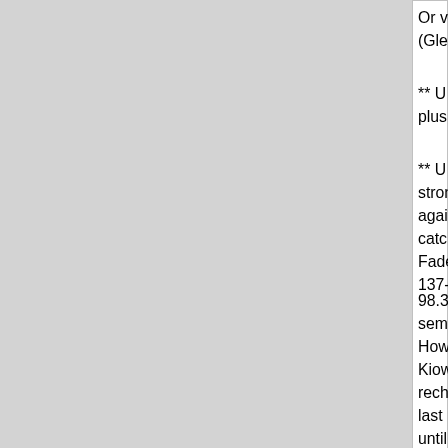Or via PayPal, not necessarily in US funds, to wo
(Glenn Hauser, OK, WOR)
** U S A. 9330.051, Aug 13 at 0617, WLCR/WBC
plus side, from the minus side 24 hours ago (Gle
** U S A. 96.7, Aug 13 at 1550 UT, after nothing n strong signal with football talk, about TX Rangers again, only KTCK-FM Flower Mound TX, which n catches a wave, as also heard Aug 11 at 1554, 3 Faded in and out like sporadic E which I was hop 137-MHz MUF patch east of here (Glenn Hauser
98.3, Aug 13 at 1654 UT, Open carrier, dead air, semi-local KQZQ, Kiowa KS, just a few km and f However, pretends to be a Pratt station, site mor Kiowa, north of Medicine Lodge. Still dead for a t rechecked until 1935 when it`s alive with country last known location of Scott Becker, onetime par until becoming a nonentity to WBCQ (Glenn Hau
This report dispatched at 2343 UT August 13
Hard-Core-DX mailing list
Hard-Core-DX@hard-core-dx.com
http://montreal.kotalampi.com/mailman/listinfo/ha
http://www.hard-core-dx.com/
Glenn Hauser logs August 13-13, 2022